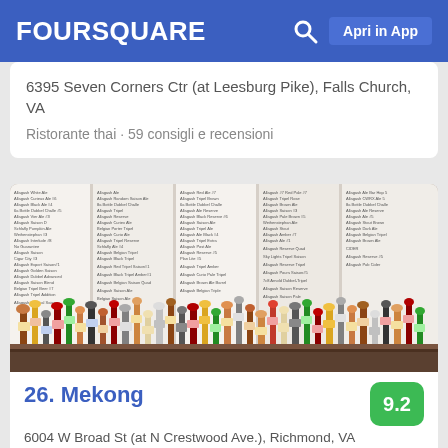FOURSQUARE  Apri in App
6395 Seven Corners Ctr (at Leesburg Pike), Falls Church, VA
Ristorante thai · 59 consigli e recensioni
[Figure (photo): A bar with many beer taps in a row, with a large chalk menu board listing beers on the wall behind the taps.]
26. Mekong
6004 W Broad St (at N Crestwood Ave.), Richmond, VA
Ristorante vietnamita · 116 consigli e recensioni